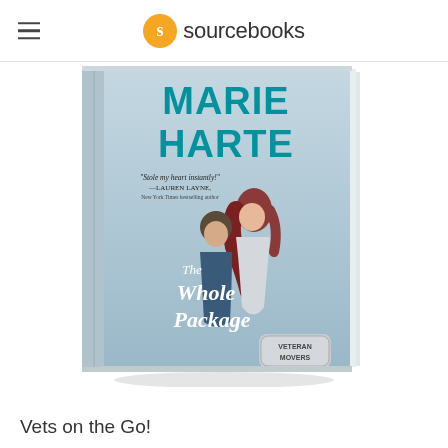sourcebooks
[Figure (photo): Book cover of 'The Whole Package' by Marie Harte, part of the Veteran Movers series. Shows a couple about to kiss on a rooftop/outdoor setting. The cover has the author name 'MARIE HARTE' in large teal letters at the top, a blurb reading 'Stole my heart instantly! —Lauren Layne, New York Times bestselling author', and the title 'The Whole Package' in white script lettering. A dog tag badge reading 'VETERAN MOVERS' appears at the bottom.]
Vets on the Go!